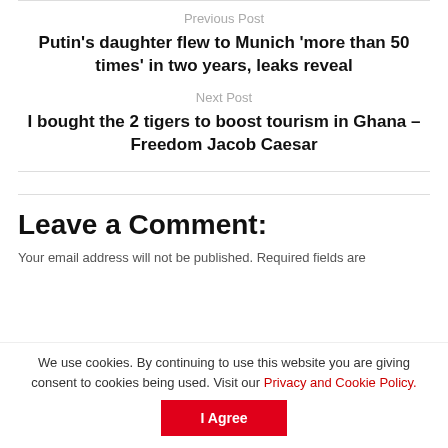Previous Post
Putin’s daughter flew to Munich ‘more than 50 times’ in two years, leaks reveal
Next Post
I bought the 2 tigers to boost tourism in Ghana – Freedom Jacob Caesar
Leave a Comment:
Your email address will not be published. Required fields are
We use cookies. By continuing to use this website you are giving consent to cookies being used. Visit our Privacy and Cookie Policy.